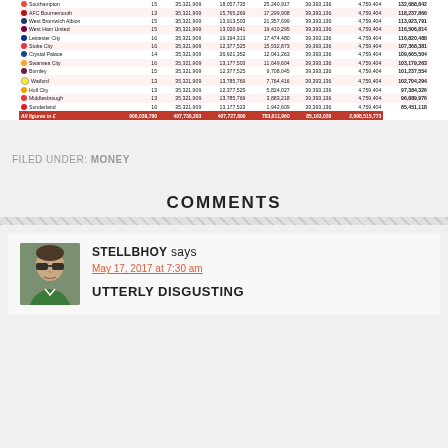| Club | P | Basic Fee | Merit Payments | Facility Fees | Int'l TV | Parachute | Total |
| --- | --- | --- | --- | --- | --- | --- | --- |
| Southampton | 15 | 35,321,909 | 18,057,735 | 25,240,917 | 39,393,136 | 4,759,404 | 132,688,842 |
| AFC Bournemouth | 13 | 35,321,909 | 15,765,269 | 17,299,908 | 39,393,136 | 4,759,404 | 118,237,866 |
| West Bromwich Albion | 15 | 35,321,909 | 13,913,503 | 21,357,699 | 39,393,136 | 4,759,404 | 113,923,791 |
| West Ham United | 15 | 35,321,909 | 13,020,941 | 19,410,295 | 39,393,136 | 4,759,404 | 116,506,814 |
| Leicester City | 16 | 35,321,909 | 19,194,313 | 17,474,480 | 39,393,136 | 4,759,404 | 116,820,488 |
| Stoke City | 16 | 35,321,909 | 12,377,525 | 15,532,873 | 39,393,136 | 4,759,404 | 107,368,381 |
| Crystal Palace | 14 | 35,321,909 | 26,921,352 | 12,041,263 | 39,393,136 | 4,759,404 | 109,665,504 |
| Swansea City | 16 | 35,321,909 | 13,177,503 | 11,649,604 | 39,393,136 | 4,759,404 | 103,179,263 |
| Burnley | 15 | 35,321,909 | 12,377,525 | 9,708,045 | 39,393,136 | 4,759,404 | 101,237,554 |
| Watford | 13 | 35,321,909 | 13,785,769 | 7,764,416 | 39,393,136 | 4,759,404 | 102,704,294 |
| Hull City | 13 | 35,321,909 | 12,377,525 | 5,824,027 | 39,393,136 | 4,759,404 | 97,384,326 |
| Middlesbrough | 13 | 35,321,909 | 13,785,769 | 3,883,218 | 39,393,136 | 4,759,404 | 96,889,976 |
| Sunderland | 16 | 35,321,909 | 13,177,523 | 1,942,609 | 39,393,136 | 4,759,404 | 85,451,118 |
FILED UNDER: MONEY
COMMENTS
STELLBHOY says
May 17, 2017 at 7:30 am
UTTERLY DISGUSTING